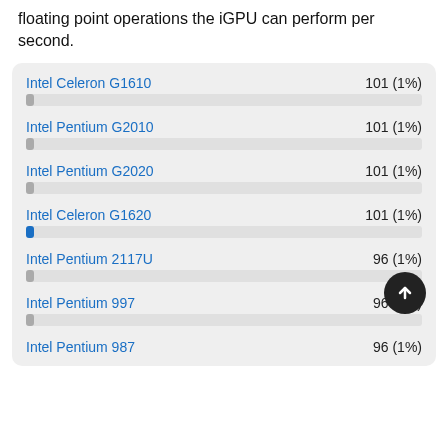floating point operations the iGPU can perform per second.
[Figure (bar-chart): iGPU GFLOPS comparison]